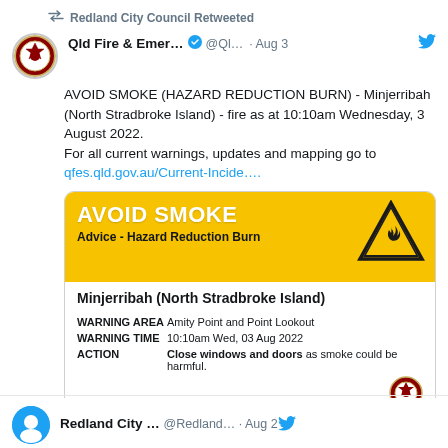Redland City Council Retweeted
Qld Fire & Emer… ✓ @Ql… · Aug 3
AVOID SMOKE (HAZARD REDUCTION BURN) - Minjerribah (North Stradbroke Island) - fire as at 10:10am Wednesday, 3 August 2022.
For all current warnings, updates and mapping go to qfes.qld.gov.au/Current-Incide….
[Figure (infographic): Yellow warning card: AVOID SMOKE heading, Advice - Hazard Reduction Burn subtitle, fire triangle warning icon, location Minjerribah (North Stradbroke Island), WARNING AREA: Amity Point and Point Lookout, WARNING TIME: 10:10am Wed, 03 Aug 2022, ACTION: Close windows and doors as smoke could be harmful. QFES logo bottom right.]
Redland City … @Redland… · Aug 2